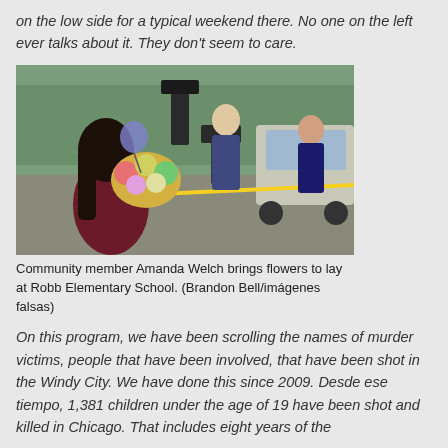on the low side for a typical weekend there. No one on the left ever talks about it. They don't seem to care.
[Figure (photo): Community member Amanda Welch carrying flowers at Robb Elementary School, with media and police vehicles in the background.]
Community member Amanda Welch brings flowers to lay at Robb Elementary School. (Brandon Bell/imágenes falsas)
On this program, we have been scrolling the names of murder victims, people that have been involved, that have been shot in the Windy City. We have done this since 2009. Desde ese tiempo, 1,381 children under the age of 19 have been shot and killed in Chicago. That includes eight years of the